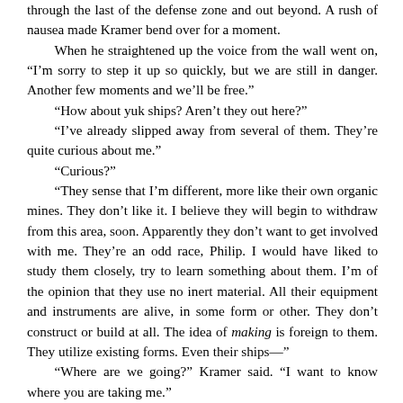through the last of the defense zone and out beyond. A rush of nausea made Kramer bend over for a moment.
    When he straightened up the voice from the wall went on, “I’m sorry to step it up so quickly, but we are still in danger. Another few moments and we’ll be free.”
    “How about yuk ships? Aren’t they out here?”
    “I’ve already slipped away from several of them. They’re quite curious about me.”
    “Curious?”
    “They sense that I’m different, more like their own organic mines. They don’t like it. I believe they will begin to withdraw from this area, soon. Apparently they don’t want to get involved with me. They’re an odd race, Philip. I would have liked to study them closely, try to learn something about them. I’m of the opinion that they use no inert material. All their equipment and instruments are alive, in some form or other. They don’t construct or build at all. The idea of making is foreign to them. They utilize existing forms. Even their ships—”
    “Where are we going?” Kramer said. “I want to know where you are taking me.”